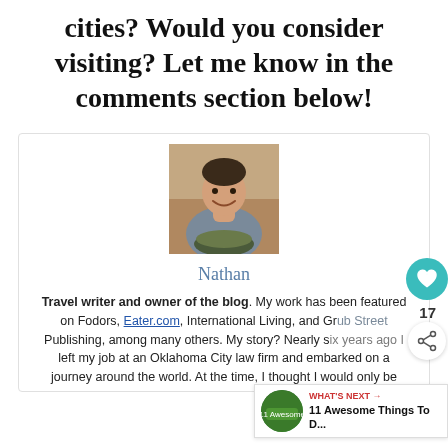cities? Would you consider visiting? Let me know in the comments section below!
[Figure (photo): Portrait photo of Nathan, a man in a grey t-shirt holding a bowl of food, smiling at the camera]
Nathan
Travel writer and owner of the blog. My work has been featured on Fodors, Eater.com, International Living, and Grub Street Publishing, among many others. My story? Nearly six years ago I left my job at an Oklahoma City law firm and embarked on a journey around the world. At the time, I thought I would only be